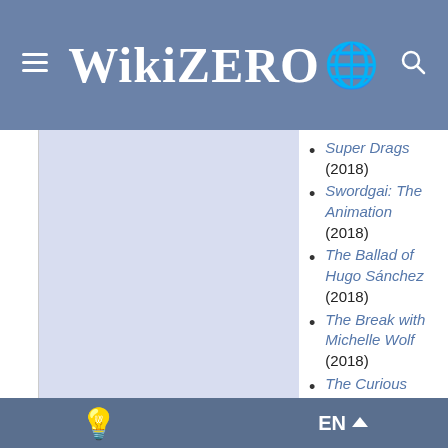WikiZero
Super Drags (2018)
Swordgai: The Animation (2018)
The Ballad of Hugo Sánchez (2018)
The Break with Michelle Wolf (2018)
The Curious Creations of Christine McConnell (2018)
The Final Table (2018)
The Fix (2018)
The Good Cop (2018)
The Hollow (2018–20)
The House of Flowers (2018–20)
The Haunting of Hill House (2018)
EN